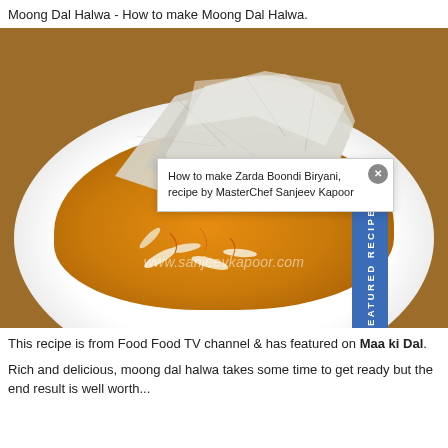Moong Dal Halwa - How to make Moong Dal Halwa.
[Figure (photo): A bowl of Moong Dal Halwa topped with silver vark (edible silver foil), saffron strands, and slivered almonds, with watermark www.sanjeevkapoor.com. A blue 'Featured Recipes' vertical banner and a white popup overlay reading 'How to make Zarda Boondi Biryani, recipe by MasterChef Sanjeev Kapoor' are visible.]
This recipe is from Food Food TV channel & has featured on Maa ki Dal.
Rich and delicious, moong dal halwa takes some time to get ready but the end result is well worth...